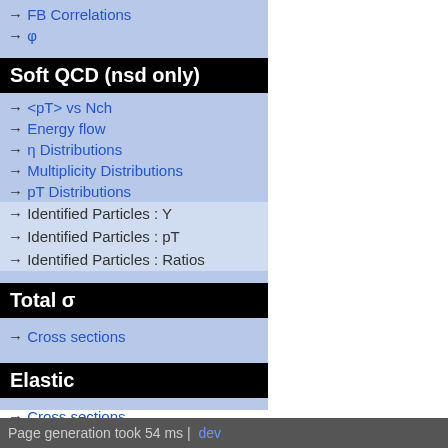→ FB Correlations
→ φ
Soft QCD (nsd only)
→ <pT> vs Nch
→ Energy flow
→ η Distributions
→ Multiplicity Distributions
→ pT Distributions
→ Identified Particles : Y
→ Identified Particles : pT
→ Identified Particles : Ratios
Total σ
→ Cross sections
Elastic
→ Cross sections
[Figure (continuous-plot): Ratio to CMS plot showing data points with error bars from multiple series (red circles, green squares, blue triangles) plotted against x-axis 0 to 1+, y-axis from ~0.5 to above 1. Yellow band around y=1. Dashed green and red dotted lines connect points.]
Page generation took 54 ms | dev